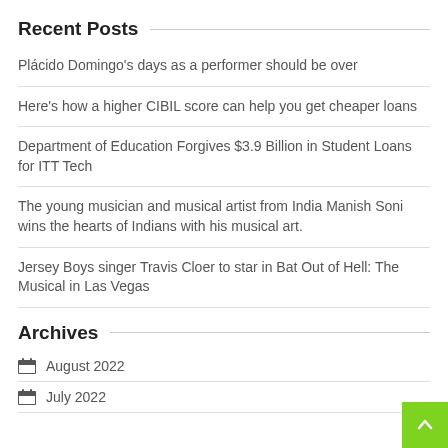Recent Posts
Plácido Domingo's days as a performer should be over
Here's how a higher CIBIL score can help you get cheaper loans
Department of Education Forgives $3.9 Billion in Student Loans for ITT Tech
The young musician and musical artist from India Manish Soni wins the hearts of Indians with his musical art.
Jersey Boys singer Travis Cloer to star in Bat Out of Hell: The Musical in Las Vegas
Archives
August 2022
July 2022